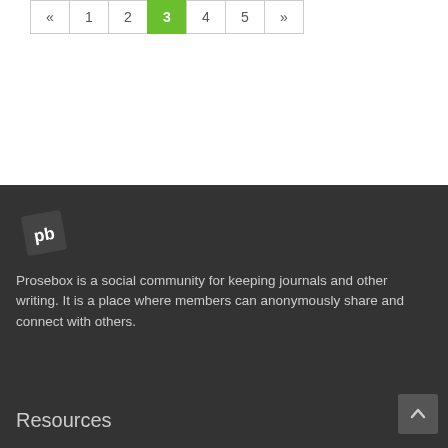« 1 2 3 4 5 »
[Figure (logo): Prosebox logo — white 'pb' text on a dark rotated square badge]
Prosebox is a social community for keeping journals and other writing. It is a place where members can anonymously share and connect with others.
Resources